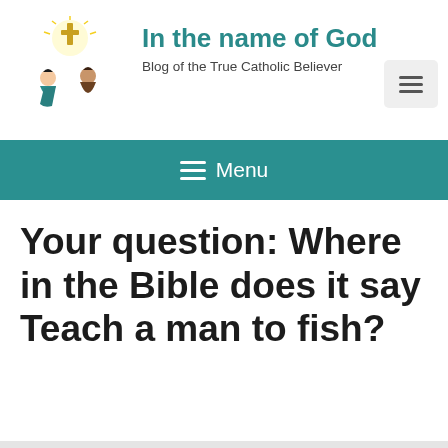[Figure (illustration): Two people kneeling in prayer with a glowing cross above them — Catholic religious illustration used as a blog logo]
In the name of God
Blog of the True Catholic Believer
[Figure (other): Hamburger menu icon button (three horizontal lines) in a light gray rounded rectangle]
≡ Menu
Your question: Where in the Bible does it say Teach a man to fish?